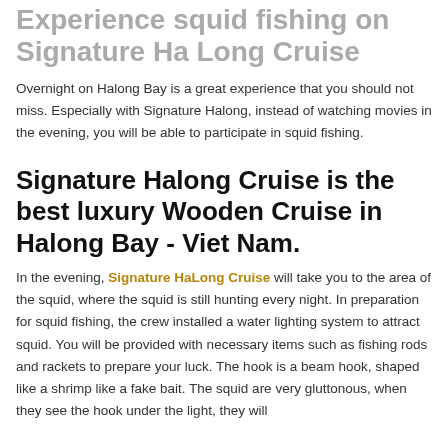Experience squid fishing on Signature Ha Long Cruise
Overnight on Halong Bay is a great experience that you should not miss. Especially with Signature Halong, instead of watching movies in the evening, you will be able to participate in squid fishing.
Signature Halong Cruise is the best luxury Wooden Cruise in Halong Bay - Viet Nam.
In the evening, Signature HaLong Cruise will take you to the area of the squid, where the squid is still hunting every night. In preparation for squid fishing, the crew installed a water lighting system to attract squid. You will be provided with necessary items such as fishing rods and rackets to prepare your luck. The hook is a beam hook, shaped like a shrimp like a fake bait. The squid are very gluttonous, when they see the hook under the light, they will